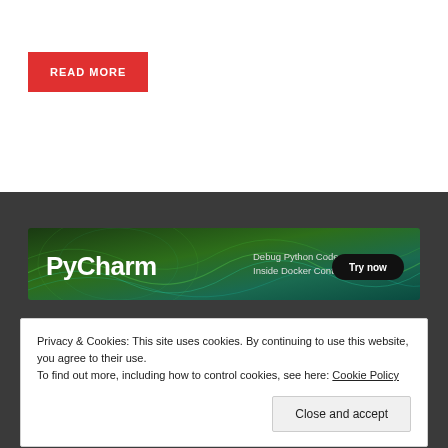READ MORE
[Figure (screenshot): PyCharm advertisement banner: dark green wavy background with PyCharm logo text on left, 'Debug Python Code Inside Docker Containers' text in center, and black oval 'Try now' button on right]
Privacy & Cookies: This site uses cookies. By continuing to use this website, you agree to their use.
To find out more, including how to control cookies, see here: Cookie Policy
Close and accept